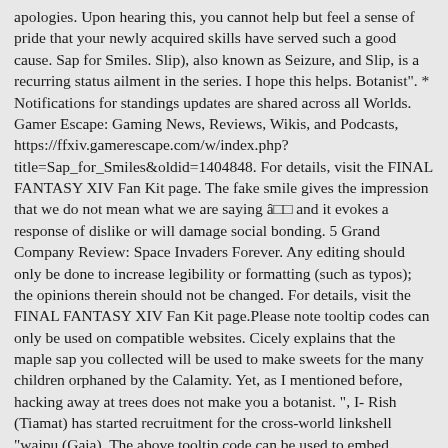apologies. Upon hearing this, you cannot help but feel a sense of pride that your newly acquired skills have served such a good cause. Sap for Smiles. Slip), also known as Seizure, and Slip, is a recurring status ailment in the series. I hope this helps. Botanist". * Notifications for standings updates are shared across all Worlds. Gamer Escape: Gaming News, Reviews, Wikis, and Podcasts, https://ffxiv.gamerescape.com/w/index.php?title=Sap_for_Smiles&oldid=1404848. For details, visit the FINAL FANTASY XIV Fan Kit page. The fake smile gives the impression that we do not mean what we are saying â□□ and it evokes a response of dislike or will damage social bonding. 5 Grand Company Review: Space Invaders Forever. Any editing should only be done to increase legibility or formatting (such as typos); the opinions therein should not be changed. For details, visit the FINAL FANTASY XIV Fan Kit page.Please note tooltip codes can only be used on compatible websites. Cicely explains that the maple sap you collected will be used to make sweets for the many children orphaned by the Calamity. Yet, as I mentioned before, hacking away at trees does not make you a botanist. ", I- Rish (Tiamat) has started recruitment for the cross-world linkshell "waipu (Gaia). The above tooltip code can be used to embed entries from the Eorzea Database in your blog or website. If significant changes are required, please contact the guide author on